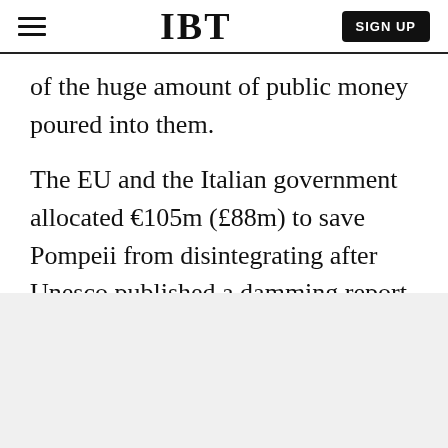IBT | SIGN UP
of the huge amount of public money poured into them.
The EU and the Italian government allocated €105m (£88m) to save Pompeii from disintegrating after Unesco published a damming report on the World Heritage site's crumbling state.